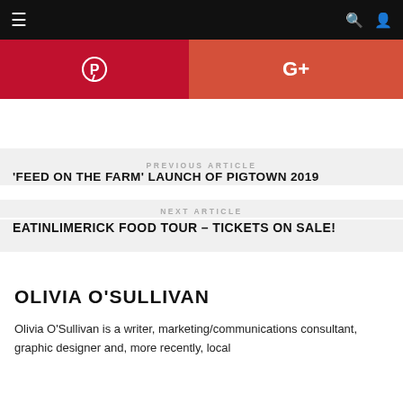Navigation bar with menu, search, and account icons
[Figure (other): Pinterest share button (dark red) and Google+ share button (coral red)]
PREVIOUS ARTICLE
'FEED ON THE FARM' LAUNCH OF PIGTOWN 2019
NEXT ARTICLE
EATINLIMERICK FOOD TOUR – TICKETS ON SALE!
OLIVIA O'SULLIVAN
Olivia O'Sullivan is a writer, marketing/communications consultant, graphic designer and, more recently, local